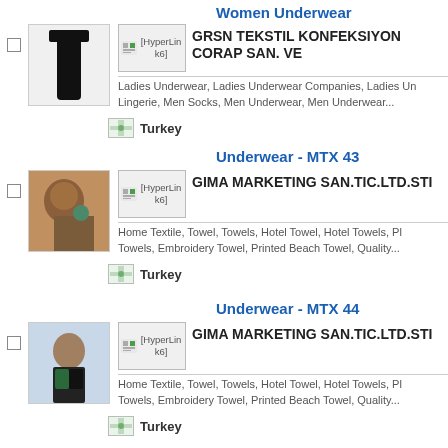Women Underwear
GRSN TEKSTIL KONFEKSIYON CORAP SAN. VE...
Ladies Underwear, Ladies Underwear Companies, Ladies Underwear, Lingerie, Men Socks, Men Underwear, Men Underwear...
Turkey
Underwear - MTX 43
GIMA MARKETING SAN.TIC.LTD.STI
Home Textile, Towel, Towels, Hotel Towel, Hotel Towels, Printed Towels, Embroidery Towel, Printed Beach Towel, Quality...
Turkey
Underwear - MTX 44
GIMA MARKETING SAN.TIC.LTD.STI
Home Textile, Towel, Towels, Hotel Towel, Hotel Towels, Printed Towels, Embroidery Towel, Printed Beach Towel, Quality...
Turkey